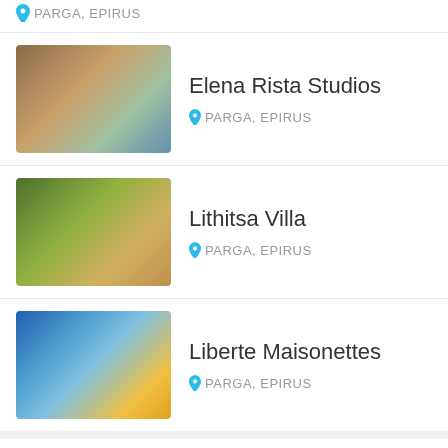PARGA, EPIRUS (top truncated item)
Elena Rista Studios — PARGA, EPIRUS
Lithitsa Villa — PARGA, EPIRUS
Liberte Maisonettes — PARGA, EPIRUS
Why Book with us?
2000+ Hotels — More than 1000 properties in Thassos and